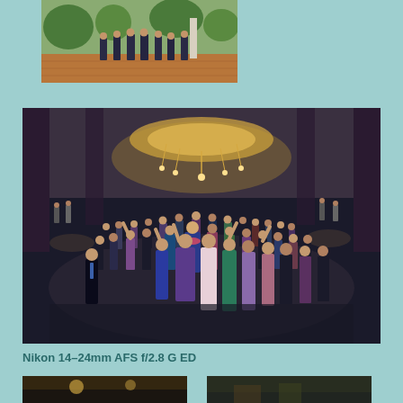[Figure (photo): Outdoor group photo of men in dark suits standing on a brick plaza with trees and columns in the background]
[Figure (photo): Large wedding reception group photo taken from above showing a large crowd of guests in formal attire dancing and posing under an ornate chandelier in a ballroom]
Nikon 14-24mm AFS f/2.8 G ED
[Figure (photo): Bottom left partial photo, outdoor scene]
[Figure (photo): Bottom right partial photo, outdoor scene]